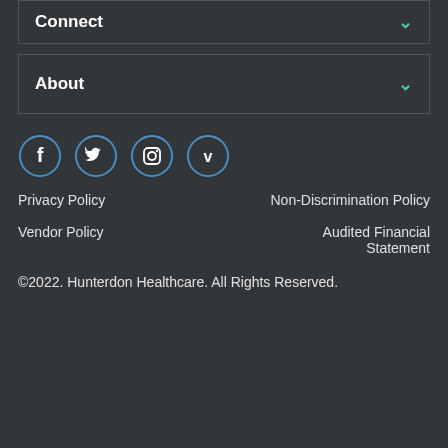Connect
About
[Figure (illustration): Social media icons: Facebook, Twitter, Instagram, Vimeo — circular blue-outlined icons on dark background]
Privacy Policy
Non-Discrimination Policy
Vendor Policy
Audited Financial Statement
©2022. Hunterdon Healthcare. All Rights Reserved.